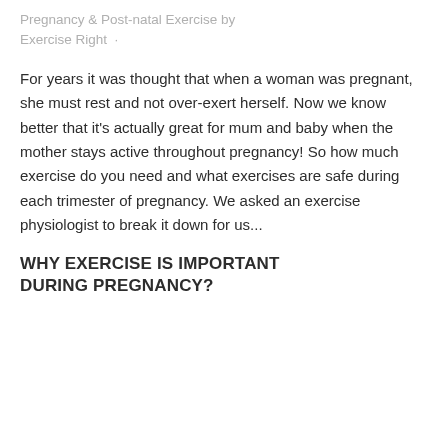Pregnancy & Post-natal Exercise by Exercise Right ·
For years it was thought that when a woman was pregnant, she must rest and not over-exert herself. Now we know better that it's actually great for mum and baby when the mother stays active throughout pregnancy! So how much exercise do you need and what exercises are safe during each trimester of pregnancy. We asked an exercise physiologist to break it down for us...
WHY EXERCISE IS IMPORTANT DURING PREGNANCY?